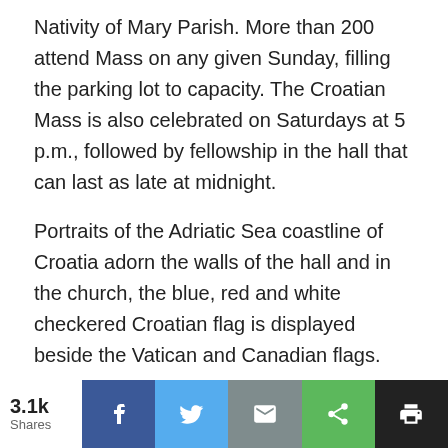Nativity of Mary Parish. More than 200 attend Mass on any given Sunday, filling the parking lot to capacity. The Croatian Mass is also celebrated on Saturdays at 5 p.m., followed by fellowship in the hall that can last as late at midnight.
Portraits of the Adriatic Sea coastline of Croatia adorn the walls of the hall and in the church, the blue, red and white checkered Croatian flag is displayed beside the Vatican and Canadian flags.
For Father Fridl — who grew up on a farm with horses back in the capital city of Zagreb — the parish community helps with any occasional homesickness.
[Figure (infographic): Social sharing bar with 3.1k shares count and buttons for Facebook, Twitter, Email, Share, and Print]